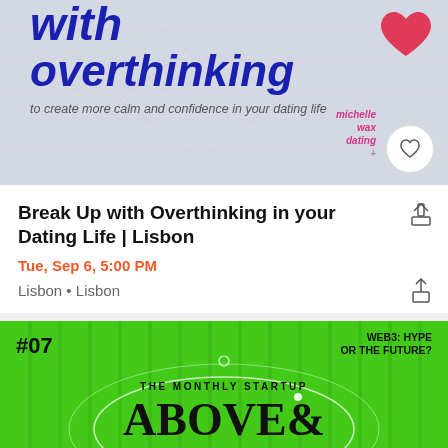[Figure (illustration): Book cover image showing 'with overthinking' in bold blue italic text, subtitle 'to create more calm and confidence in your dating life', a red heart icon, and 'michelle wax dating' author text. A heart outline in a circle appears bottom right.]
Break Up with Overthinking in your Dating Life | Lisbon
Tue, Sep 6, 5:00 PM
Lisbon • Lisbon
[Figure (illustration): Green promotional card with striped background showing #07, 'WEB3: HYPE OR THE FUTURE?', 'THE MONTHLY STARTUP', and 'ABOVE & BEYOND' in large serif text with oval outline design.]